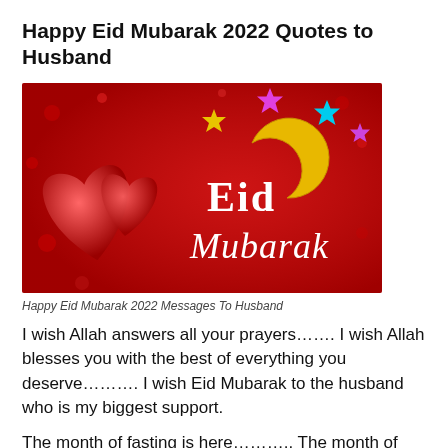Happy Eid Mubarak 2022 Quotes to Husband
[Figure (photo): Eid Mubarak greeting image with red background, two red hearts, crescent moon, colorful stars, and text reading 'Eid Mubarak']
Happy Eid Mubarak 2022 Messages To Husband
I wish Allah answers all your prayers……. I wish Allah blesses you with the best of everything you deserve………. I wish Eid Mubarak to the husband who is my biggest support.
The month of fasting is here……….. The month of offering prayers to Allah is here…………. The month to pray for your